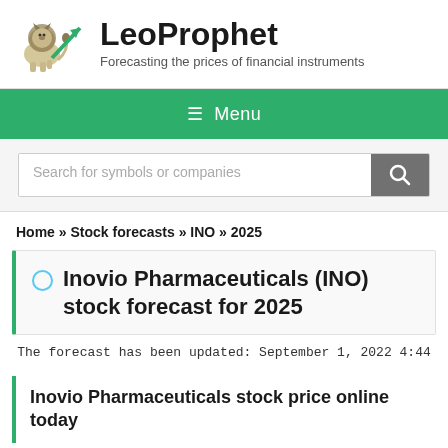[Figure (logo): LeoProphet logo: lion with green upward arrow chart]
LeoProphet
Forecasting the prices of financial instruments
≡ Menu
Search for symbols or companies
Home » Stock forecasts » INO » 2025
Inovio Pharmaceuticals (INO) stock forecast for 2025
The forecast has been updated: September 1, 2022 4:44
Inovio Pharmaceuticals stock price online today